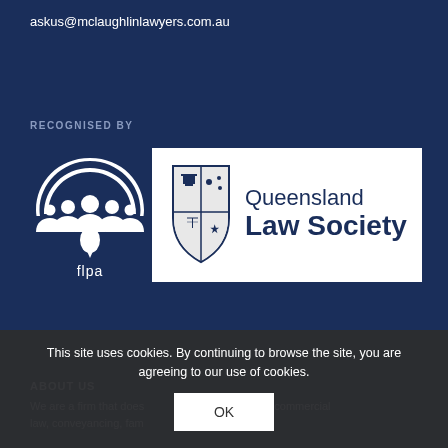askus@mclaughlinlawyers.com.au
RECOGNISED BY
[Figure (logo): FLPA logo: white circular icon with multiple person silhouettes and 'flpa' text below, on dark navy background]
[Figure (logo): Queensland Law Society logo: shield crest on left with 'Queensland Law Society' text on right, in white box]
This site uses cookies. By continuing to browse the site, you are agreeing to our use of cookies.
OK
ABOUT US
We are a firm that does business and commercial law, conveyancing, fam… and estates and …